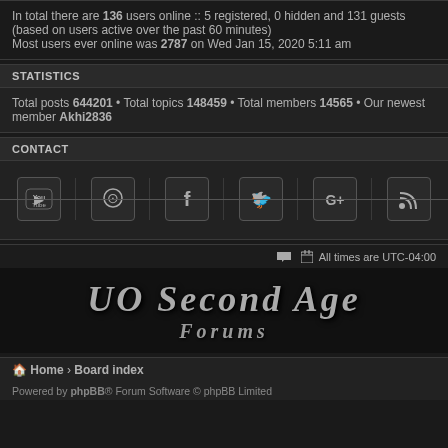In total there are 136 users online :: 5 registered, 0 hidden and 131 guests (based on users active over the past 60 minutes)
Most users ever online was 2787 on Wed Jan 15, 2020 5:11 am
STATISTICS
Total posts 644201 • Total topics 148459 • Total members 14565 • Our newest member Akhi2836
CONTACT
[Figure (other): Social media icons: YouTube, GitHub, Facebook, Twitter, Google+, RSS feed]
All times are UTC-04:00
[Figure (logo): UO Second Age Forums logo in stylized medieval font]
Home › Board index
Powered by phpBB® Forum Software © phpBB Limited